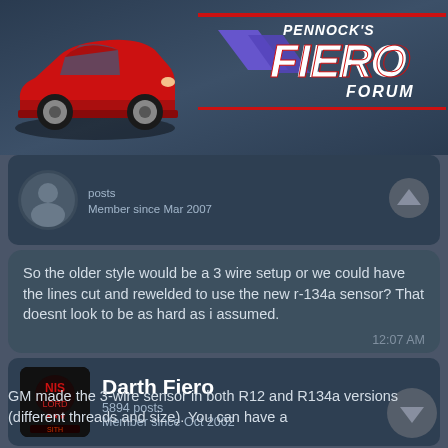[Figure (logo): Pennock's Fiero Forum logo with red Pontiac Fiero car illustration and purple/blue chevron design]
posts
Member since Mar 2007
So the older style would be a 3 wire setup or we could have the lines cut and rewelded to use the new r-134a sensor? That doesnt look to be as hard as i assumed.
12:07 AM
Darth Fiero
5894 posts
Member since Oct 2002
quote
Originally posted by mtownfiero:
So the older style would be a 3 wire setup or we could have the lines cut and rewelded to use the new r-134a sensor? That doesnt look to be as hard as i assumed.
GM made the 3-wire sensor in both R12 and R134a versions (different threads and size). You can have a